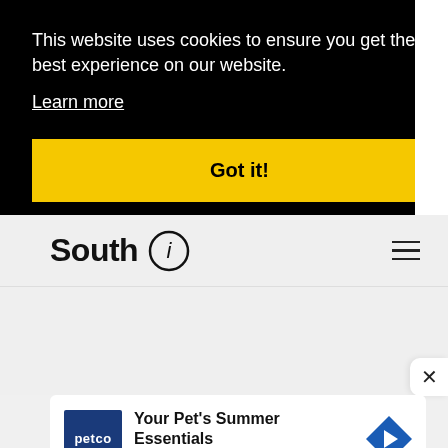This website uses cookies to ensure you get the best experience on our website.
Learn more
Got it!
[Figure (logo): South i logo with circle i icon]
[Figure (infographic): Advertisement: Your Pet's Summer Essentials - Petco]
Your Pet's Summer Essentials
Petco